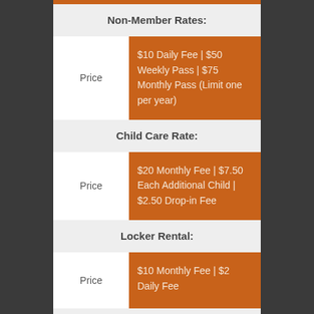Non-Member Rates:
|  | Price |
| --- | --- |
| Price | $10 Daily Fee | $50 Weekly Pass | $75 Monthly Pass (Limit one per year) |
Child Care Rate:
|  | Price |
| --- | --- |
| Price | $20 Monthly Fee | $7.50 Each Additional Child | $2.50 Drop-in Fee |
Locker Rental:
|  | Price |
| --- | --- |
| Price | $10 Monthly Fee | $2 Daily Fee |